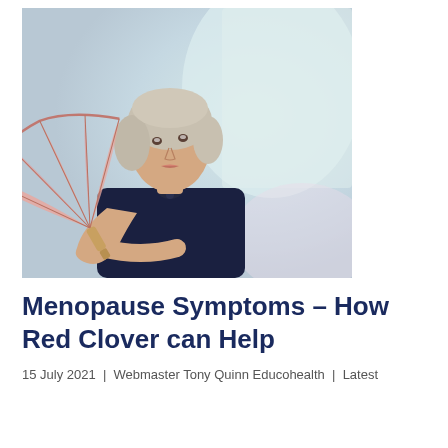[Figure (photo): Middle-aged woman with short blonde hair wearing a dark navy dress, holding a pink decorative hand fan, looking upward. Background is blurred light grey and teal tones.]
Menopause Symptoms – How Red Clover can Help
15 July 2021 | Webmaster Tony Quinn Educohealth | Latest